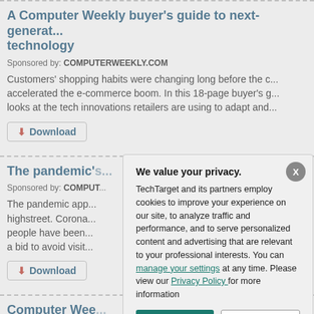A Computer Weekly buyer's guide to next-generation technology
Sponsored by: COMPUTERWEEKLY.COM
Customers' shopping habits were changing long before the c... accelerated the e-commerce boom. In this 18-page buyer's g... looks at the tech innovations retailers are using to adapt and...
Download
The pandemic's...
Sponsored by: COMPUT...
The pandemic app... highstreet. Corona... people have been... a bid to avoid visit...
Download
Computer Wee...
Sponsored by: COMPUT...
[Figure (screenshot): Privacy consent modal dialog with title 'We value your privacy.' and text from TechTarget about cookies, with OK and Settings buttons and an X close button.]